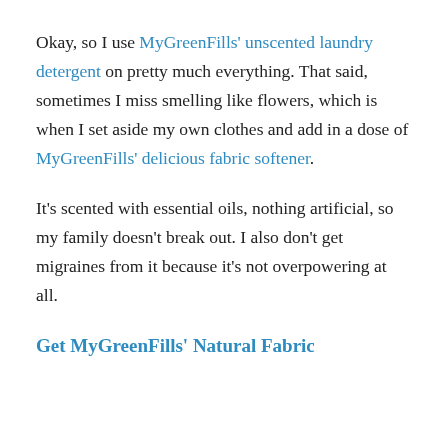Okay, so I use MyGreenFills' unscented laundry detergent on pretty much everything. That said, sometimes I miss smelling like flowers, which is when I set aside my own clothes and add in a dose of MyGreenFills' delicious fabric softener.
It's scented with essential oils, nothing artificial, so my family doesn't break out. I also don't get migraines from it because it's not overpowering at all.
Get MyGreenFills' Natural Fabric